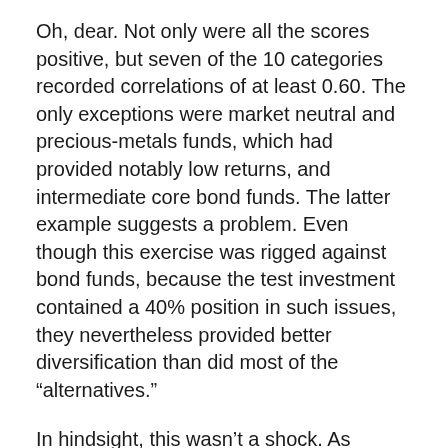Oh, dear. Not only were all the scores positive, but seven of the 10 categories recorded correlations of at least 0.60. The only exceptions were market neutral and precious-metals funds, which had provided notably low returns, and intermediate core bond funds. The latter example suggests a problem. Even though this exercise was rigged against bond funds, because the test investment contained a 40% position in such issues, they nevertheless provided better diversification than did most of the “alternatives.”
In hindsight, this wasn’t a shock. As previously mentioned, the blue categories largely invest in equities. Yes, they hedge, but at heart they are equity funds. Aside from market-neutral funds, which mostly live up their billing by not being strongly correlated with equity returns, the other categories tend to follow the lead of the stock market. Think of them more as sedated forms of equity